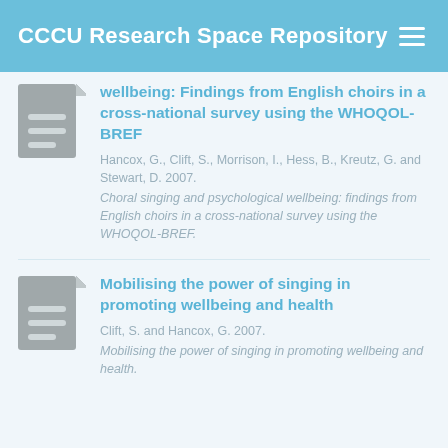CCCU Research Space Repository
wellbeing: Findings from English choirs in a cross-national survey using the WHOQOL-BREF
Hancox, G., Clift, S., Morrison, I., Hess, B., Kreutz, G. and Stewart, D. 2007. Choral singing and psychological wellbeing: findings from English choirs in a cross-national survey using the WHOQOL-BREF.
Mobilising the power of singing in promoting wellbeing and health
Clift, S. and Hancox, G. 2007. Mobilising the power of singing in promoting wellbeing and health.